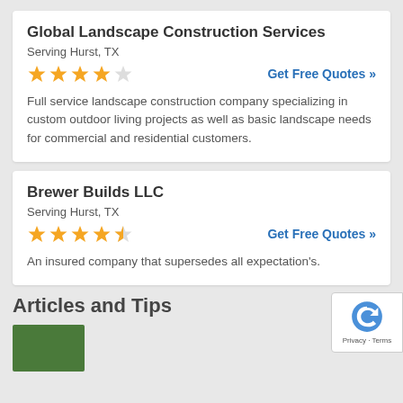Global Landscape Construction Services
Serving Hurst, TX
Get Free Quotes »
Full service landscape construction company specializing in custom outdoor living projects as well as basic landscape needs for commercial and residential customers.
Brewer Builds LLC
Serving Hurst, TX
Get Free Quotes »
An insured company that supersedes all expectation's.
Articles and Tips